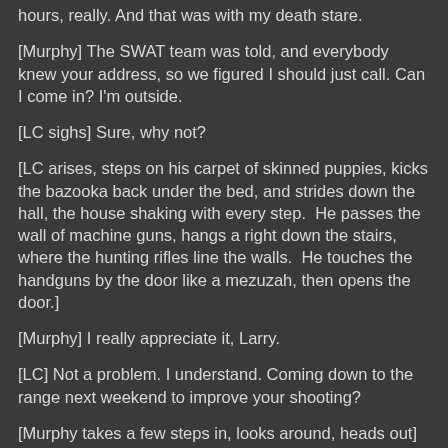hours, really. And that was with my death stare.
[Murphy] The SWAT team was told, and everybody knew your address, so we figured I should just call. Can I come in? I'm outside.
[LC sighs] Sure, why not?
[LC arises, steps on his carpet of skinned puppies, kicks the bazooka back under the bed, and strides down the hall, the house shaking with every step.  He passes the wall of machine guns, hangs a right down the stairs, where the hunting rifles line the walls.  He touches the handguns by the door like a mezuzah, then opens the door.]
[Murphy] I really appreciate it, Larry.
[LC] Not a problem. I understand. Coming down to the range next weekend to improve your shooting?
[Murphy takes a few steps in, looks around, heads out] Yup. Thanks again, Larry. See you Friday at the BBQ.